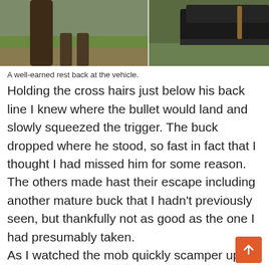[Figure (photo): Photo strip showing legs/boots near a tree trunk on the left and the rear of an old dark vehicle on grass on the right.]
A well-earned rest back at the vehicle.
Holding the cross hairs just below his back line I knew where the bullet would land and slowly squeezed the trigger. The buck dropped where he stood, so fast in fact that I thought I had missed him for some reason. The others made hast their escape including another mature buck that I hadn't previously seen, but thankfully not as good as the one I had presumably taken.
As I watched the mob quickly scamper up the hill for the bush line, I counted three bucks in all and wondered if in deed I had missed. As all went qui got up and began walking towards where the mob